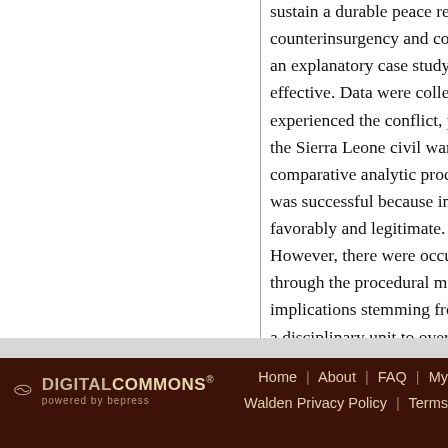sustain a durable peace resolution, counterinsurgency and conflict an explanatory case study to de effective. Data were collected th experienced the conflict, public the Sierra Leone civil war. All da comparative analytic procedure was successful because intervene favorably and legitimate. The EC However, there were occurrence through the procedural mecha implications stemming from thi a disciplinary unit to oversee vic abuses by ECOWAS troops. The parties, and ethnic groups in the
DIGITAL COMMONS® powered by bepress   Home | About | FAQ | My   Walden Privacy Policy | Terms